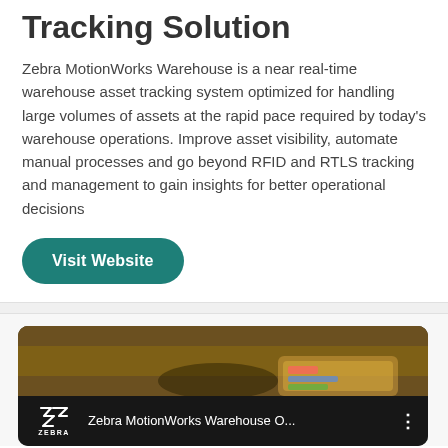Tracking Solution
Zebra MotionWorks Warehouse is a near real-time warehouse asset tracking system optimized for handling large volumes of assets at the rapid pace required by today's warehouse operations. Improve asset visibility, automate manual processes and go beyond RFID and RTLS tracking and management to gain insights for better operational decisions
[Figure (screenshot): A teal/green rounded button labeled 'Visit Website']
[Figure (screenshot): YouTube-style video thumbnail showing 'Zebra MotionWorks Warehouse O...' with the Zebra logo on the left and a three-dot menu on the right, over a dark video preview]